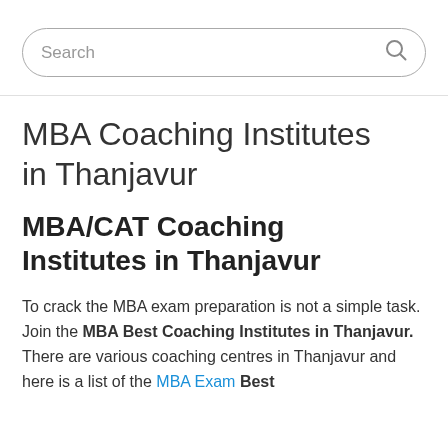[Figure (screenshot): Search bar with placeholder text 'Search' and a magnifying glass icon, rounded border]
MBA Coaching Institutes in Thanjavur
MBA/CAT Coaching Institutes in Thanjavur
To crack the MBA exam preparation is not a simple task. Join the MBA Best Coaching Institutes in Thanjavur. There are various coaching centres in Thanjavur and here is a list of the MBA Exam Best